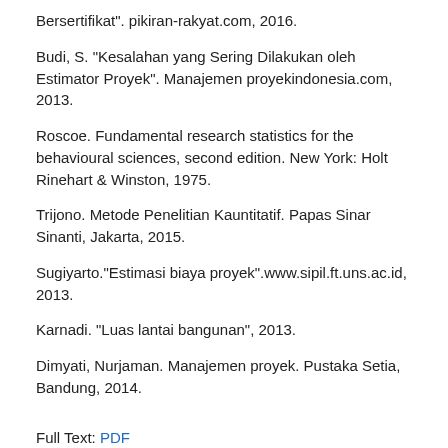Bersertifikat". pikiran-rakyat.com, 2016.
Budi, S. “Kesalahan yang Sering Dilakukan oleh Estimator Proyek". Manajemen proyekindonesia.com, 2013.
Roscoe. Fundamental research statistics for the behavioural sciences, second edition. New York: Holt Rinehart & Winston, 1975.
Trijono. Metode Penelitian Kauntitatif. Papas Sinar Sinanti, Jakarta, 2015.
Sugiyarto.“Estimasi biaya proyek”.www.sipil.ft.uns.ac.id, 2013.
Karnadi. “Luas lantai bangunan”, 2013.
Dimyati, Nurjaman. Manajemen proyek. Pustaka Setia, Bandung, 2014.
Full Text: PDF
DOI: 10.28991/cej.2017.00000073